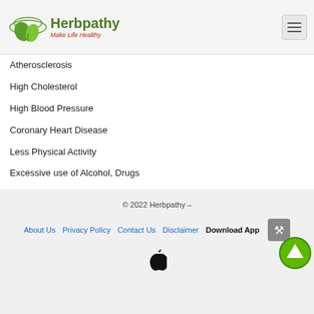Herbpathy - Make Life Healthy
Atherosclerosis
High Cholesterol
High Blood Pressure
Coronary Heart Disease
Less Physical Activity
Excessive use of Alcohol, Drugs
If not treated properly Heart Diseases may cause
Death
Heart attack
To prevent Heart Disease avoid,
Alcohol
Smoking
Junk food
© 2022 Herbpathy – | About Us | Privacy Policy | Contact Us | Disclaimer | Download App